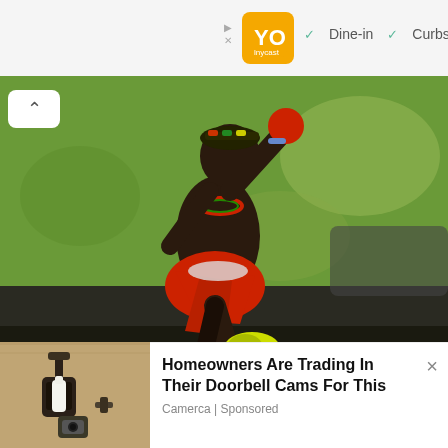[Figure (screenshot): Top advertisement bar with orange restaurant logo icon, checkmarks for Dine-in and Curbside options]
[Figure (photo): A shirtless man wearing red traditional garb and colorful beaded necklace, holding a red ball overhead while jumping or running, set against a blurred green outdoor background]
[Figure (photo): Bottom advertisement showing a home security camera/light fixture on a beige stucco wall]
Homeowners Are Trading In Their Doorbell Cams For This
Camerca | Sponsored